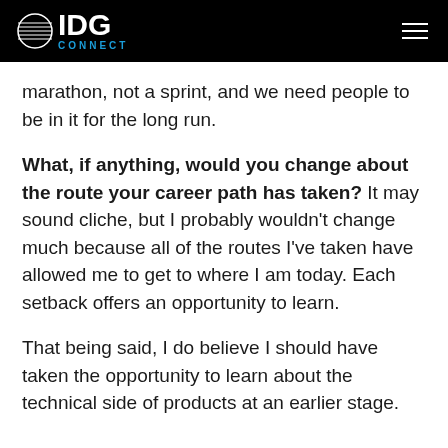IDG CONNECT
marathon, not a sprint, and we need people to be in it for the long run.
What, if anything, would you change about the route your career path has taken? It may sound cliche, but I probably wouldn't change much because all of the routes I've taken have allowed me to get to where I am today. Each setback offers an opportunity to learn.
That being said, I do believe I should have taken the opportunity to learn about the technical side of products at an earlier stage.